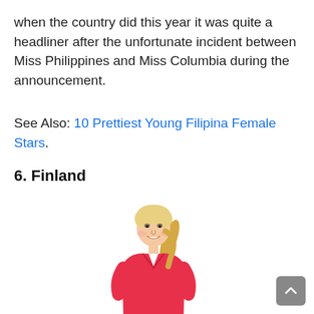when the country did this year it was quite a headliner after the unfortunate incident between Miss Philippines and Miss Columbia during the announcement.
See Also: 10 Prettiest Young Filipina Female Stars.
6. Finland
[Figure (photo): A smiling blonde woman wearing a red sleeveless dress, photographed from approximately waist up.]